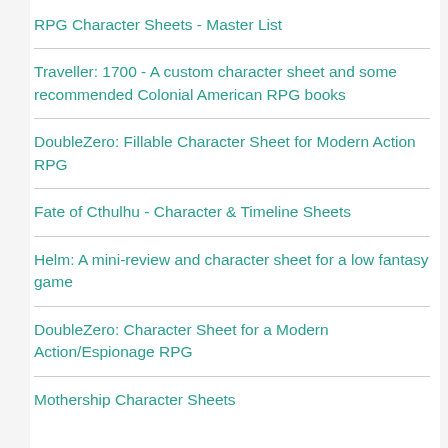RPG Character Sheets - Master List
Traveller: 1700 - A custom character sheet and some recommended Colonial American RPG books
DoubleZero: Fillable Character Sheet for Modern Action RPG
Fate of Cthulhu - Character & Timeline Sheets
Helm: A mini-review and character sheet for a low fantasy game
DoubleZero: Character Sheet for a Modern Action/Espionage RPG
Mothership Character Sheets